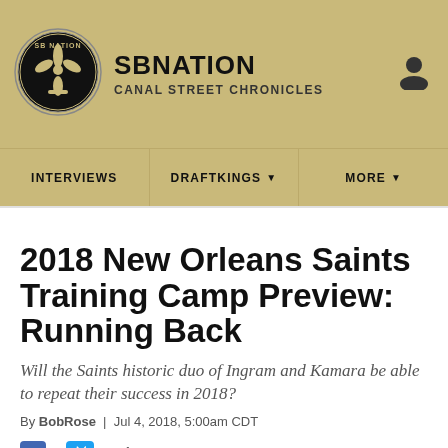SBNATION CANAL STREET CHRONICLES
INTERVIEWS | DRAFTKINGS ▼ | MORE ▼
2018 New Orleans Saints Training Camp Preview: Running Back
Will the Saints historic duo of Ingram and Kamara be able to repeat their success in 2018?
By BobRose | Jul 4, 2018, 5:00am CDT
SHARE